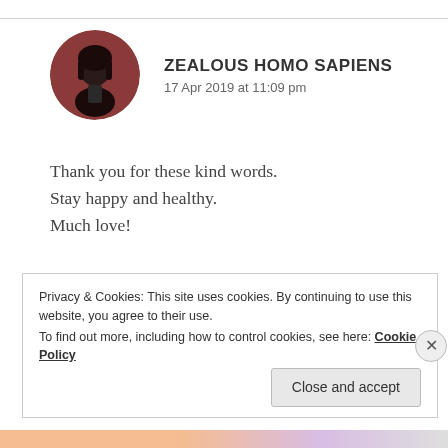[Figure (illustration): Circular avatar photo of a person with dark hair and dark clothing against a dark reddish-brown background]
ZEALOUS HOMO SAPIENS
17 Apr 2019 at 11:09 pm
Thank you for these kind words.
Stay happy and healthy.
Much love!
Like
REPLY
Privacy & Cookies: This site uses cookies. By continuing to use this website, you agree to their use.
To find out more, including how to control cookies, see here: Cookie Policy
Close and accept